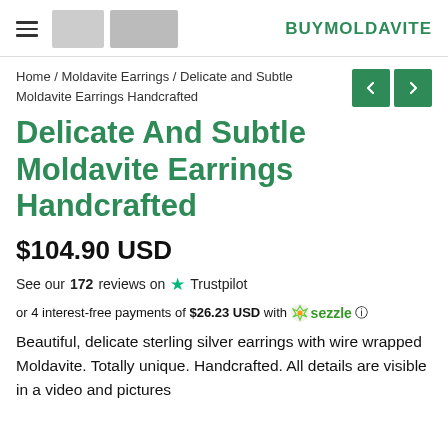BUYMOLDAVITE
Home / Moldavite Earrings / Delicate and Subtle Moldavite Earrings Handcrafted
Delicate And Subtle Moldavite Earrings Handcrafted
$104.90 USD
See our 172 reviews on Trustpilot
or 4 interest-free payments of $26.23 USD with sezzle
Beautiful, delicate sterling silver earrings with wire wrapped Moldavite. Totally unique. Handcrafted. All details are visible in a video and pictures